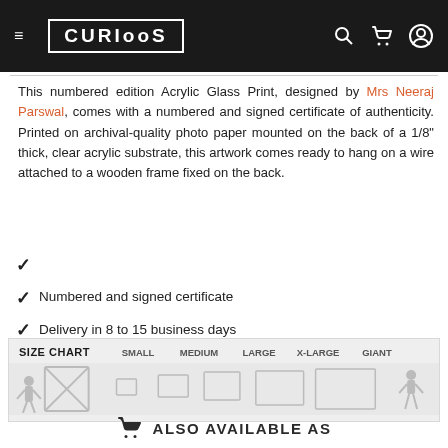CURIOOS — navigation header with hamburger menu, logo, search, cart, and account icons
This numbered edition Acrylic Glass Print, designed by Mrs Neeraj Parswal, comes with a numbered and signed certificate of authenticity. Printed on archival-quality photo paper mounted on the back of a 1/8" thick, clear acrylic substrate, this artwork comes ready to hang on a wire attached to a wooden frame fixed on the back.
Numbered and signed certificate
Delivery in 8 to 15 business days
100 days free return policy
[Figure (infographic): Size chart showing relative sizes: SMALL, MEDIUM, LARGE, X-LARGE, GIANT with human silhouette for scale and rectangle icons for each size]
ALSO AVAILABLE AS